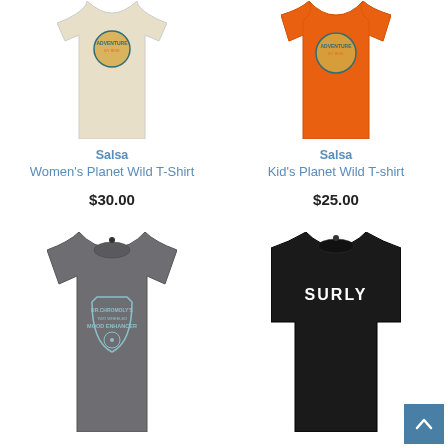[Figure (photo): Women's light beige/cream tank top with circular adventure by bike graphic on chest]
Salsa
Women's Planet Wild T-Shirt
$30.00
[Figure (photo): Kid's orange short sleeve t-shirt with circular adventure by bike graphic on chest]
Salsa
Kid's Planet Wild T-shirt
$25.00
[Figure (photo): Grey women's short sleeve t-shirt with Dr. Chromoly's Two Wheeled Mood Enhancer graphic]
[Figure (photo): Black long sleeve t-shirt with SURLY text on chest]